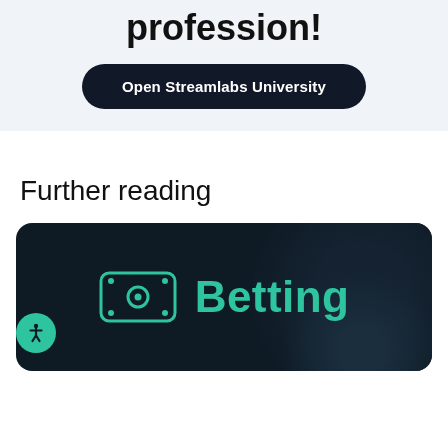profession!
[Figure (other): Dark rounded button with white text reading 'Open Streamlabs University']
Further reading
[Figure (illustration): Dark card with teal money/cash icon and the word 'Betting' in teal text on a dark background with a circular gradient accent. An accessibility icon button is shown at the bottom left.]